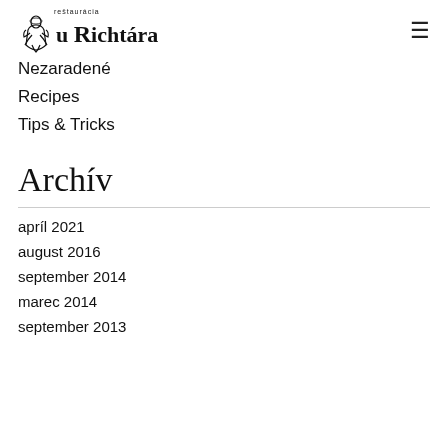reštaurácia u Richtára
Nezaradené
Recipes
Tips & Tricks
Archív
apríl 2021
august 2016
september 2014
marec 2014
september 2013